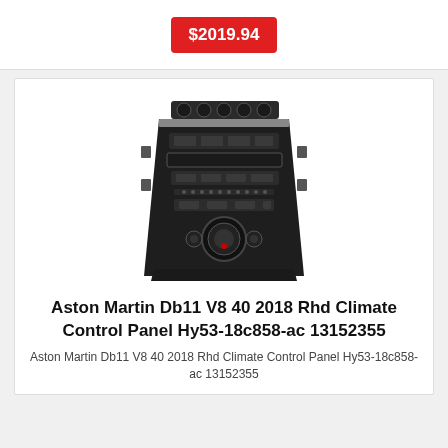$2019.94
[Figure (photo): Aston Martin Db11 V8 40 2018 Rhd Climate Control Panel part, photographed from above against white background, showing a black multi-button climate control unit with knobs and a central dial]
Aston Martin Db11 V8 40 2018 Rhd Climate Control Panel Hy53-18c858-ac 13152355
Aston Martin Db11 V8 40 2018 Rhd Climate Control Panel Hy53-18c858-ac 13152355